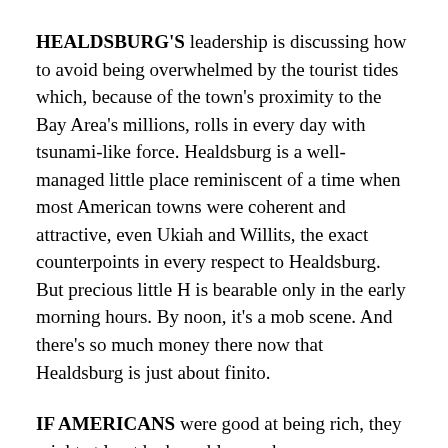HEALDSBURG'S leadership is discussing how to avoid being overwhelmed by the tourist tides which, because of the town's proximity to the Bay Area's millions, rolls in every day with tsunami-like force. Healdsburg is a well-managed little place reminiscent of a time when most American towns were coherent and attractive, even Ukiah and Willits, the exact counterpoints in every respect to Healdsburg. But precious little H is bearable only in the early morning hours. By noon, it's a mob scene. And there's so much money there now that Healdsburg is just about finito.
IF AMERICANS were good at being rich, they might at least be bearable, maybe even magnanimous enough to give us some nice buildings, an attractive park or two, but these animals we've got going in this country? I dream of Robespierre, guillotines and acres of severed heads rolling south down 101.